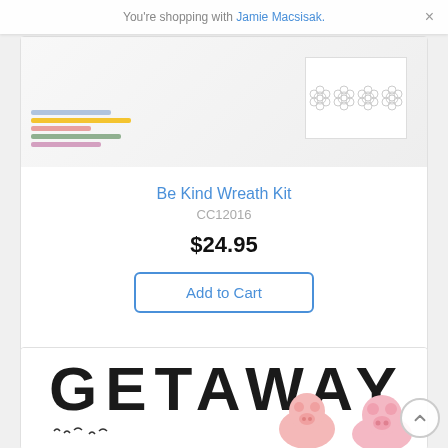You're shopping with Jamie Macsisak.
[Figure (photo): Product image for Be Kind Wreath Kit showing colorful paper strips and flower outline stamps on white background]
Be Kind Wreath Kit
CC12016
$24.95
Add to Cart
[Figure (photo): Second product card showing large bold text GETAWAY with bird decorations and pink pig/flower illustrations at bottom]